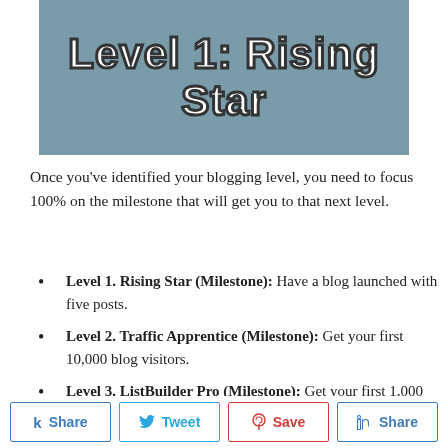[Figure (illustration): Banner graphic with teal/blue-grey background and white bold text reading 'Level 1: Rising Star' with dark outline stroke]
Once you've identified your blogging level, you need to focus 100% on the milestone that will get you to that next level.
Level 1. Rising Star (Milestone): Have a blog launched with five posts.
Level 2. Traffic Apprentice (Milestone): Get your first 10,000 blog visitors.
Level 3. ListBuilder Pro (Milestone): Get your first 1,000 email subscribers.
Level 4. Money Maverick (Milestone): Earn your first $1,000 blogging online.
Share buttons: k share, tweet, save (Pinterest), in share